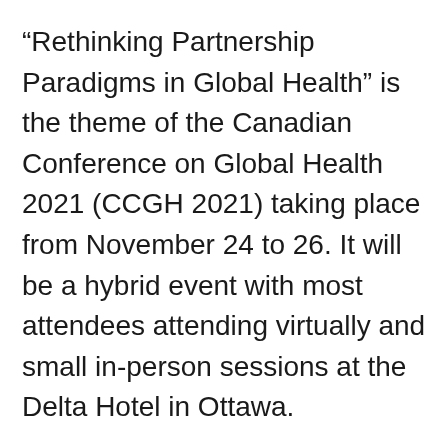“Rethinking Partnership Paradigms in Global Health” is the theme of the Canadian Conference on Global Health 2021 (CCGH 2021) taking place from November 24 to 26. It will be a hybrid event with most attendees attending virtually and small in-person sessions at the Delta Hotel in Ottawa.